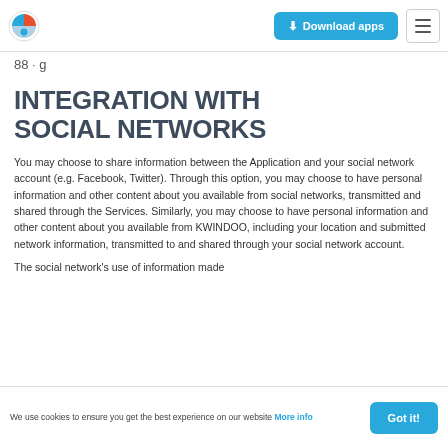Download apps
88 · g
INTEGRATION WITH SOCIAL NETWORKS
You may choose to share information between the Application and your social network account (e.g. Facebook, Twitter). Through this option, you may choose to have personal information and other content about you available from social networks, transmitted and shared through the Services. Similarly, you may choose to have personal information and other content about you available from KWINDOO, including your location and submitted network information, transmitted to and shared through your social network account.
The social network's use of information made
We use cookies to ensure you get the best experience on our website More info Got it!